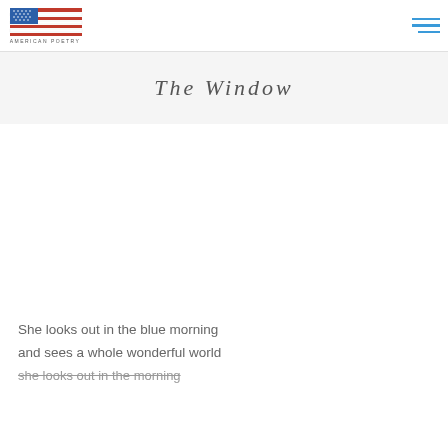American Poetry
The Window
She looks out in the blue morning
and sees a whole wonderful world
she looks out in the morning